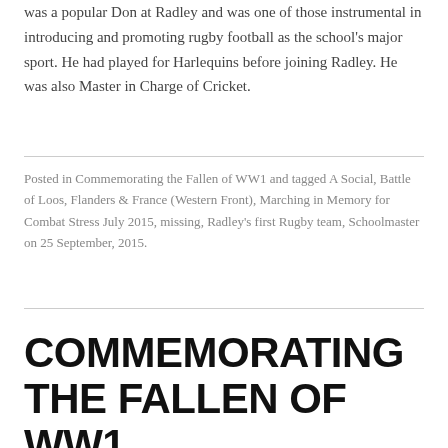was a popular Don at Radley and was one of those instrumental in introducing and promoting rugby football as the school’s major sport. He had played for Harlequins before joining Radley. He was also Master in Charge of Cricket.
Posted in Commemorating the Fallen of WW1 and tagged A Social, Battle of Loos, Flanders & France (Western Front), Marching in Memory for Combat Stress July 2015, missing, Radley’s first Rugby team, Schoolmaster on 25 September, 2015.
COMMEMORATING THE FALLEN OF WW1